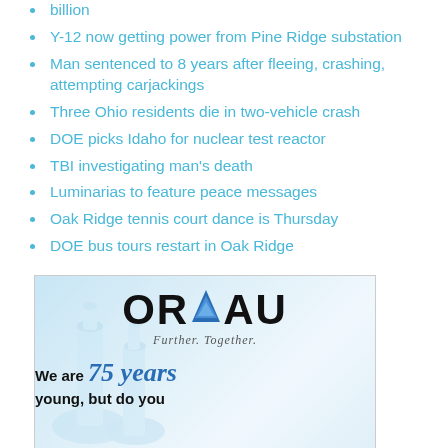billion
Y-12 now getting power from Pine Ridge substation
Man sentenced to 8 years after fleeing, crashing, attempting carjackings
Three Ohio residents die in two-vehicle crash
DOE picks Idaho for nuclear test reactor
TBI investigating man's death
Luminarias to feature peace messages
Oak Ridge tennis court dance is Thursday
DOE bus tours restart in Oak Ridge
[Figure (logo): ORAU advertisement with logo showing triangle symbol between OR and AU, tagline 'Further. Together.' and text 'We are 75 years young, but do you']